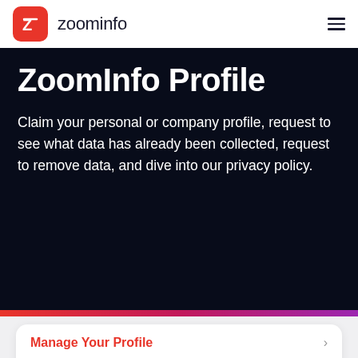zoominfo
ZoomInfo Profile
Claim your personal or company profile, request to see what data has already been collected, request to remove data, and dive into our privacy policy.
Manage Your Profile
ZoomInfo Privacy Practices